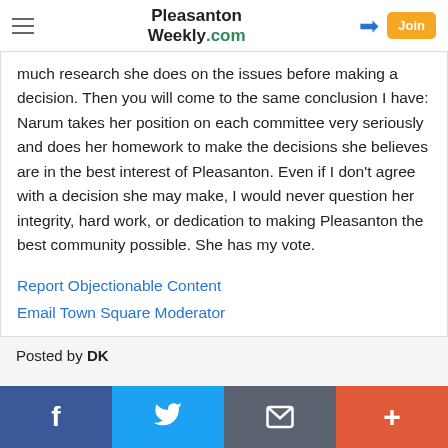Pleasanton Weekly.com
much research she does on the issues before making a decision. Then you will come to the same conclusion I have: Narum takes her position on each committee very seriously and does her homework to make the decisions she believes are in the best interest of Pleasanton. Even if I don't agree with a decision she may make, I would never question her integrity, hard work, or dedication to making Pleasanton the best community possible. She has my vote.
Report Objectionable Content
Email Town Square Moderator
Posted by DK